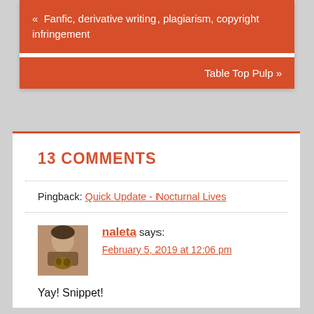« Fanfic, derivative writing, plagiarism, copyright infringement
Table Top Pulp »
13 COMMENTS
Pingback: Quick Update - Nocturnal Lives
naleta says:
February 5, 2019 at 12:06 pm
Yay! Snippet!